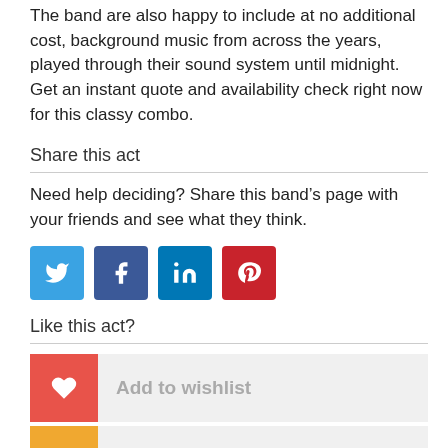The band are also happy to include at no additional cost, background music from across the years, played through their sound system until midnight.  Get an instant quote and availability check right now for this classy combo.
Share this act
Need help deciding? Share this band’s page with your friends and see what they think.
[Figure (infographic): Four social media share buttons: Twitter (blue), Facebook (dark blue), LinkedIn (blue), Pinterest (red)]
Like this act?
Add to wishlist
View your wishlist (?)